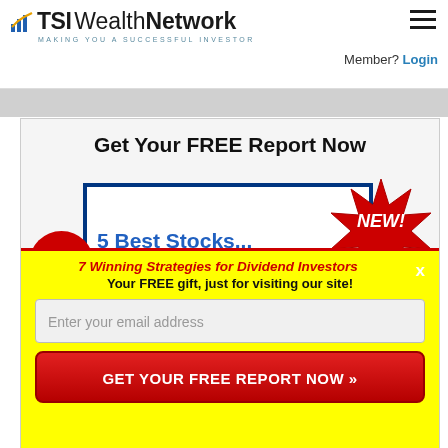[Figure (logo): TSI Wealth Network logo with bar chart icon and tagline 'MAKING YOU A SUCCESSFUL INVESTOR']
Member? Login
Get Your FREE Report Now
[Figure (illustration): Book cover showing '5 Best Stocks...' with FREE Report red circle badge and NEW! red starburst]
7 Winning Strategies for Dividend Investors
Your FREE gift, just for visiting our site!
Enter your email address
GET YOUR FREE REPORT NOW »